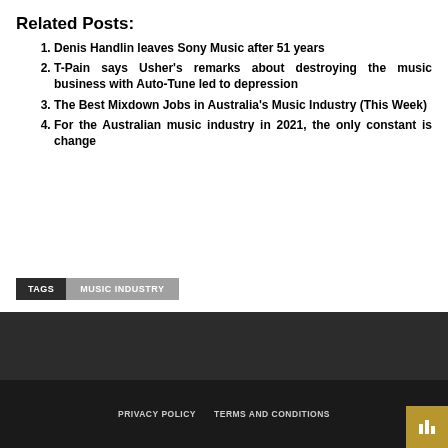Related Posts:
Denis Handlin leaves Sony Music after 51 years
T-Pain says Usher's remarks about destroying the music business with Auto-Tune led to depression
The Best Mixdown Jobs in Australia's Music Industry (This Week)
For the Australian music industry in 2021, the only constant is change
TAGS  MUSIC INDUSTRY
PRIVACY POLICY   TERMS AND CONDITIONS